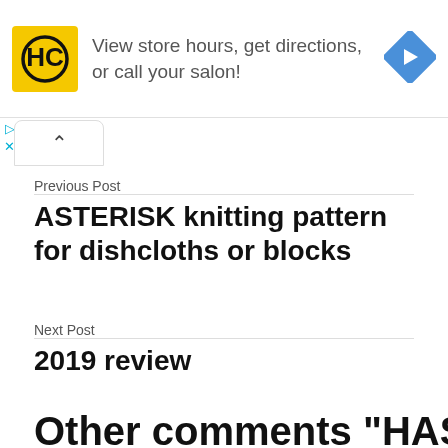[Figure (infographic): Advertisement banner for a hair salon app showing HC logo in yellow square, text 'View store hours, get directions, or call your salon!', and a blue diamond navigation arrow icon.]
Previous Post
ASTERISK knitting pattern for dishcloths or blocks
Next Post
2019 review